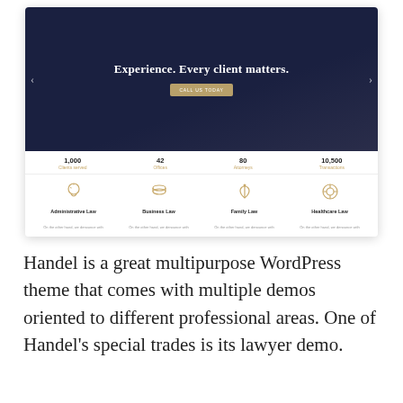[Figure (screenshot): Handel WordPress lawyer demo screenshot showing a hero section with text 'Experience. Every client matters.' and a 'CALL US TODAY' button, stats bar with 1,000 Clients served, 42 Offices, 80 Attorneys, 10,500 Transactions, and four service columns: Administrative Law, Business Law, Family Law, Healthcare Law each with an icon and placeholder text.]
Handel is a great multipurpose WordPress theme that comes with multiple demos oriented to different professional areas. One of Handel's special trades is its lawyer demo.